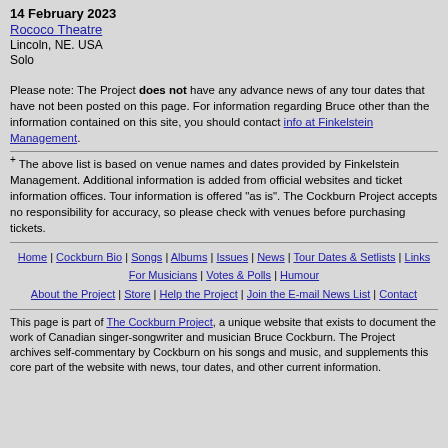14 February 2023
Rococo Theatre
Lincoln, NE. USA
Solo
Please note: The Project does not have any advance news of any tour dates that have not been posted on this page. For information regarding Bruce other than the information contained on this site, you should contact info at Finkelstein Management.
+ The above list is based on venue names and dates provided by Finkelstein Management. Additional information is added from official websites and ticket information offices. Tour information is offered "as is". The Cockburn Project accepts no responsibility for accuracy, so please check with venues before purchasing tickets.
Home | Cockburn Bio | Songs | Albums | Issues | News | Tour Dates & Setlists | Links
For Musicians | Votes & Polls | Humour
About the Project | Store | Help the Project | Join the E-mail News List | Contact
This page is part of The Cockburn Project, a unique website that exists to document the work of Canadian singer-songwriter and musician Bruce Cockburn. The Project archives self-commentary by Cockburn on his songs and music, and supplements this core part of the website with news, tour dates, and other current information.